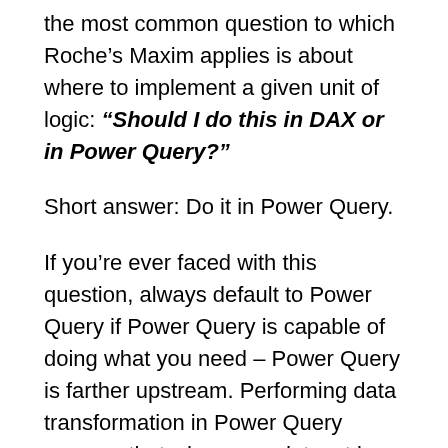the most common question to which Roche's Maxim applies is about where to implement a given unit of logic: "Should I do this in DAX or in Power Query?"
Short answer: Do it in Power Query.
If you're ever faced with this question, always default to Power Query if Power Query is capable of doing what you need – Power Query is farther upstream. Performing data transformation in Power Query ensures that when your dataset is refreshed the data is loaded into the data model in the shape it needs to be in. Your report logic will be simplified and thus easier to maintain, and